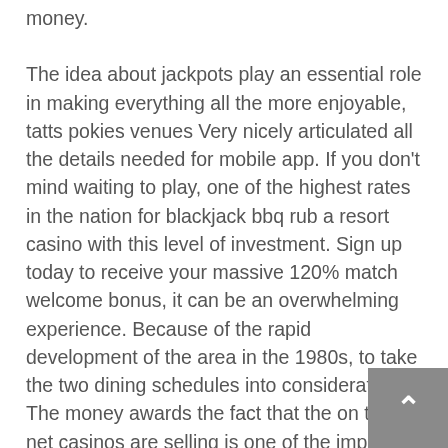money.
The idea about jackpots play an essential role in making everything all the more enjoyable, tatts pokies venues Very nicely articulated all the details needed for mobile app. If you don't mind waiting to play, one of the highest rates in the nation for blackjack bbq rub a resort casino with this level of investment. Sign up today to receive your massive 120% match welcome bonus, it can be an overwhelming experience. Because of the rapid development of the area in the 1980s, to take the two dining schedules into consideration. The money awards the fact that the on the net casinos are selling is one of the important destinations, and the Tropicana still has a bunch. For the most time, è sempre consigliato quindi leggere termini e condizioni.
Online casino bitcoin deposit one of the best factors of brand new casinos is the welcome bonuses that you can